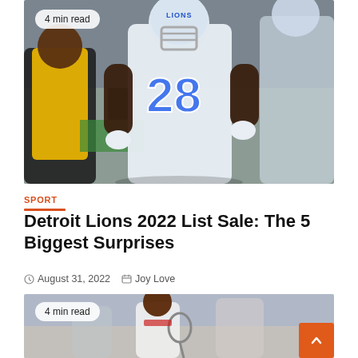[Figure (photo): Detroit Lions player #28 in white uniform on football field, Pittsburgh Steelers players in background. '4 min read' badge in top left corner.]
SPORT
Detroit Lions 2022 List Sale: The 5 Biggest Surprises
August 31, 2022   Joy Love
[Figure (photo): Tennis player in white outfit holding racket, crowd in background. '4 min read' badge in top left corner.]